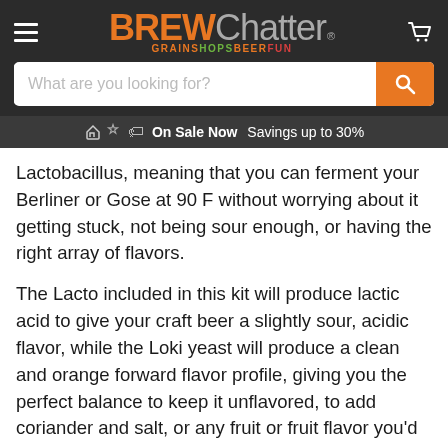BREW Chatter GRAINS HOPS BEER FUN
Lactobacillus, meaning that you can ferment your Berliner or Gose at 90 F without worrying about it getting stuck, not being sour enough, or having the right array of flavors.
The Lacto included in this kit will produce lactic acid to give your craft beer a slightly sour, acidic flavor, while the Loki yeast will produce a clean and orange forward flavor profile, giving you the perfect balance to keep it unflavored, to add coriander and salt, or any fruit or fruit flavor you'd like!
The best part is that you don't need a stir plate, don't need to make a yeast starter, and you can do this with any wheat beer, blonde, or any style beers that you want a clean and complex